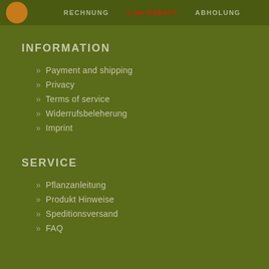RECHNUNG  1,5% RABATT  ABHOLUNG
INFORMATION
» Payment and shipping
» Privacy
» Terms of service
» Widerrufsbeleherung
» Imprint
SERVICE
» Pflanzanleitung
» Produkt Hinweise
» Speditionsversand
» FAQ